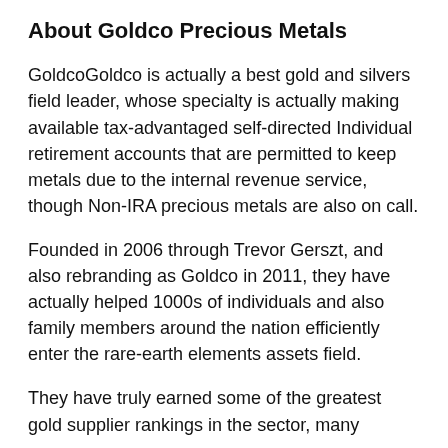About Goldco Precious Metals
GoldcoGoldco is actually a best gold and silvers field leader, whose specialty is actually making available tax-advantaged self-directed Individual retirement accounts that are permitted to keep metals due to the internal revenue service, though Non-IRA precious metals are also on call.
Founded in 2006 through Trevor Gerszt, and also rebranding as Goldco in 2011, they have actually helped 1000s of individuals and also family members around the nation efficiently enter the rare-earth elements assets field.
They have truly earned some of the greatest gold supplier rankings in the sector, many